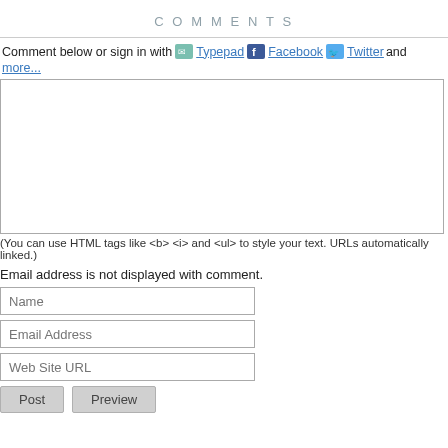COMMENTS
Comment below or sign in with Typepad Facebook Twitter and more...
[Figure (screenshot): Large empty comment text input area box]
(You can use HTML tags like <b> <i> and <ul> to style your text. URLs automatically linked.)
Email address is not displayed with comment.
[Figure (screenshot): Name input field]
[Figure (screenshot): Email Address input field]
[Figure (screenshot): Web Site URL input field]
[Figure (screenshot): Post and Preview buttons]